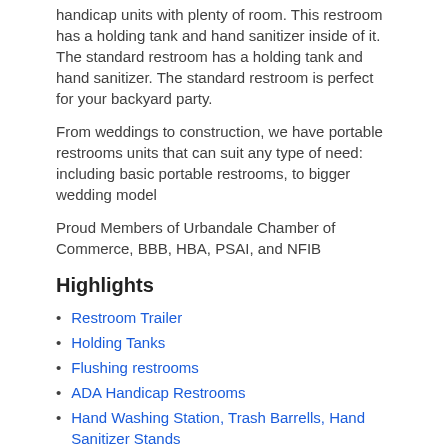handicap units with plenty of room. This restroom has a holding tank and hand sanitizer inside of it. The standard restroom has a holding tank and hand sanitizer. The standard restroom is perfect for your backyard party.
From weddings to construction, we have portable restrooms units that can suit any type of need: including basic portable restrooms, to bigger wedding model
Proud Members of Urbandale Chamber of Commerce, BBB, HBA, PSAI, and NFIB
Highlights
Restroom Trailer
Holding Tanks
Flushing restrooms
ADA Handicap Restrooms
Hand Washing Station, Trash Barrells, Hand Sanitizer Stands
Images
[Figure (photo): Photo of a restroom trailer outdoors among trees]
[Figure (photo): Photo of a white portable restroom unit outdoors]